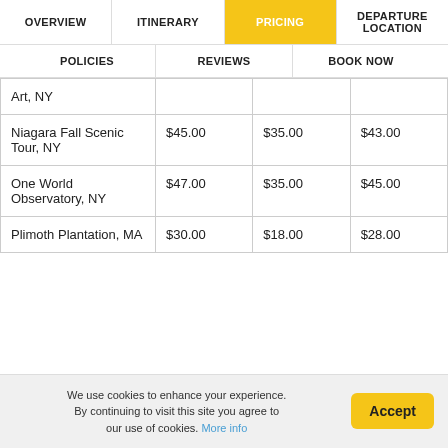OVERVIEW | ITINERARY | PRICING | DEPARTURE LOCATION | POLICIES | REVIEWS | BOOK NOW
|  |  |  |  |
| --- | --- | --- | --- |
| Art, NY |  |  |  |
| Niagara Fall Scenic Tour, NY | $45.00 | $35.00 | $43.00 |
| One World Observatory, NY | $47.00 | $35.00 | $45.00 |
| Plimoth Plantation, MA | $30.00 | $18.00 | $28.00 |
We use cookies to enhance your experience. By continuing to visit this site you agree to our use of cookies. More info